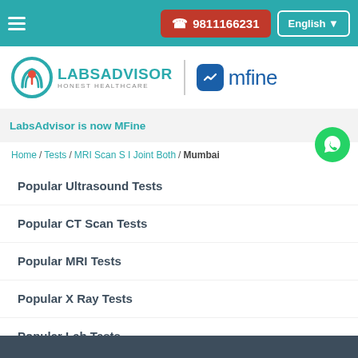☎ 9811166231 | English
[Figure (logo): LabsAdvisor Honest Healthcare logo with teal circle icon and mfine logo]
LabsAdvisor is now MFine
Home / Tests / MRI Scan S I Joint Both / Mumbai
Popular Ultrasound Tests
Popular CT Scan Tests
Popular MRI Tests
Popular X Ray Tests
Popular Lab Tests